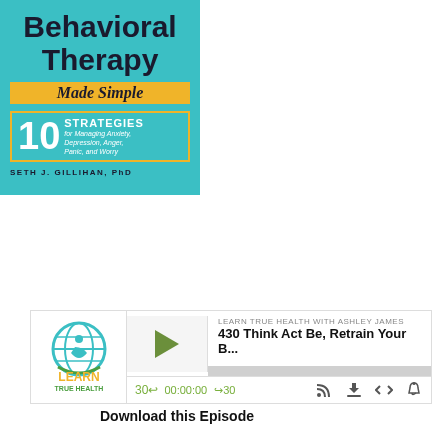[Figure (illustration): Book cover: 'Cognitive Behavioral Therapy Made Simple' by Seth J. Gillihan, PhD. Teal/turquoise background. Title in bold dark text, subtitle 'Made Simple' in yellow banner. '10 STRATEGIES for Managing Anxiety, Depression, Anger, Panic, and Worry' in a yellow-bordered box. Author name at bottom.]
[Figure (screenshot): Podcast audio player widget for 'Learn True Health with Ashley James', episode '430 Think Act Be, Retrain Your B...' showing play button, progress bar, time 00:00:00, skip 30s controls, and various icon buttons. Learn True Health logo on left.]
Download this Episode